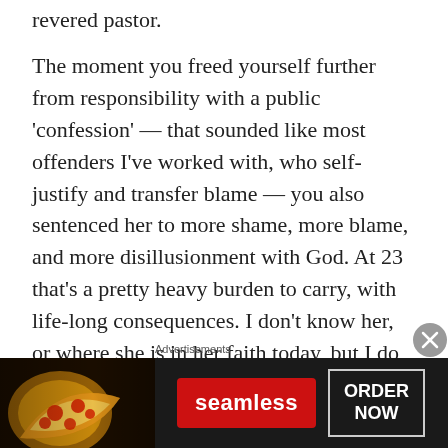revered pastor.
The moment you freed yourself further from responsibility with a public ‘confession’ — that sounded like most offenders I’ve worked with, who self-justify and transfer blame — you also sentenced her to more shame, more blame, and more disillusionment with God. At 23 that’s a pretty heavy burden to carry, with life-long consequences. I don’t know her, or where she is in her faith today, but I do know many like her. And I have heard the struggle. If it isn’t impacting her
Advertisements
[Figure (screenshot): Advertisement banner for Seamless food delivery service showing pizza image on left, red Seamless logo button in center, and ORDER NOW button on right, on dark background]